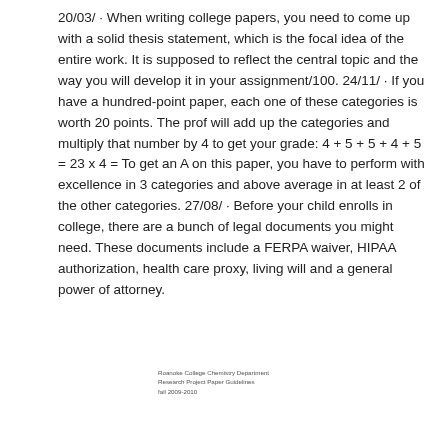20/03/ · When writing college papers, you need to come up with a solid thesis statement, which is the focal idea of the entire work. It is supposed to reflect the central topic and the way you will develop it in your assignment/100. 24/11/ · If you have a hundred-point paper, each one of these categories is worth 20 points. The prof will add up the categories and multiply that number by 4 to get your grade: 4 + 5 + 5 + 4 + 5 = 23 x 4 = To get an A on this paper, you have to perform with excellence in 3 categories and above average in at least 2 of the other categories. 27/08/ · Before your child enrolls in college, there are a bunch of legal documents you might need. These documents include a FERPA waiver, HIPAA authorization, health care proxy, living will and a general power of attorney.
Roanoke College Chemistry Department
Research Project Paper Guidelines
fall 2009-2010